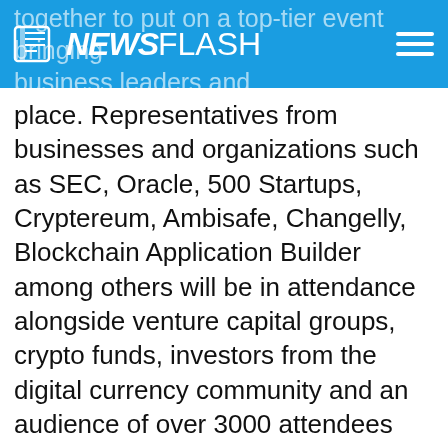NEWSFLASH
together to put on a top-tier event bringing business leaders and place. Representatives from businesses and organizations such as SEC, Oracle, 500 Startups, Cryptereum, Ambisafe, Changelly, Blockchain Application Builder among others will be in attendance alongside venture capital groups, crypto funds, investors from the digital currency community and an audience of over 3000 attendees who are somehow connected with the blockchain space.
CB is a series of premium Blockchain events that connect ICO companies with the brightest industry minds and the latest in technological innovation. CB is the place where the future of